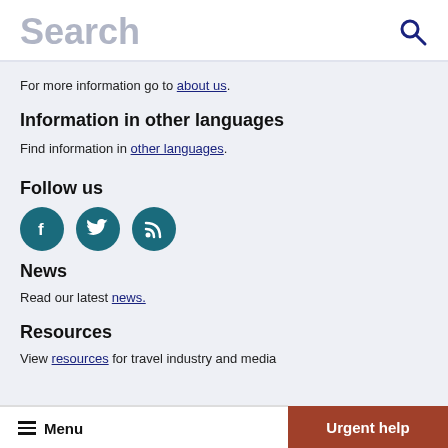Search
For more information go to about us.
Information in other languages
Find information in other languages.
Follow us
[Figure (illustration): Three circular social media icons: Facebook (f), Twitter (bird), RSS feed]
News
Read our latest news.
Resources
View resources for travel industry and media
Menu   Urgent help